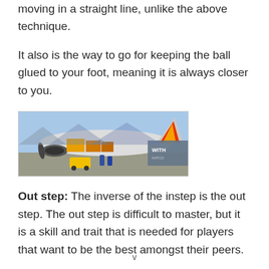moving in a straight line, unlike the above technique.
It also is the way to go for keeping the ball glued to your foot, meaning it is always closer to you.
[Figure (photo): A cargo airplane being loaded at an airport, with yellow and red tail livery visible and ground crew working nearby. A partially visible overlay box appears on the right side.]
Out step: The inverse of the instep is the out step. The out step is difficult to master, but it is a skill and trait that is needed for players that want to be the best amongst their peers.
v